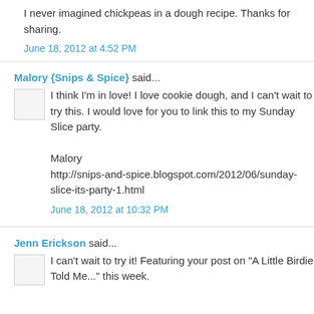I never imagined chickpeas in a dough recipe. Thanks for sharing.
June 18, 2012 at 4:52 PM
Malory {Snips & Spice} said...
I think I'm in love! I love cookie dough, and I can't wait to try this. I would love for you to link this to my Sunday Slice party.

Malory
http://snips-and-spice.blogspot.com/2012/06/sunday-slice-its-party-1.html
June 18, 2012 at 10:32 PM
Jenn Erickson said...
I can't wait to try it! Featuring your post on "A Little Birdie Told Me..." this week.